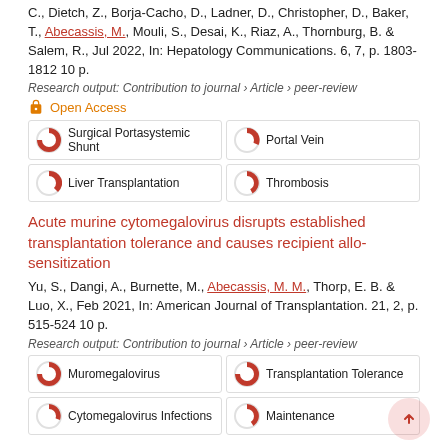C., Dietch, Z., Borja-Cacho, D., Ladner, D., Christopher, D., Baker, T., Abecassis, M., Mouli, S., Desai, K., Riaz, A., Thornburg, B. & Salem, R., Jul 2022, In: Hepatology Communications. 6, 7, p. 1803-1812 10 p.
Research output: Contribution to journal › Article › peer-review
Open Access
Surgical Portasystemic Shunt
Portal Vein
Liver Transplantation
Thrombosis
Acute murine cytomegalovirus disrupts established transplantation tolerance and causes recipient allo-sensitization
Yu, S., Dangi, A., Burnette, M., Abecassis, M. M., Thorp, E. B. & Luo, X., Feb 2021, In: American Journal of Transplantation. 21, 2, p. 515-524 10 p.
Research output: Contribution to journal › Article › peer-review
Muromegalovirus
Transplantation Tolerance
Cytomegalovirus Infections
Maintenance